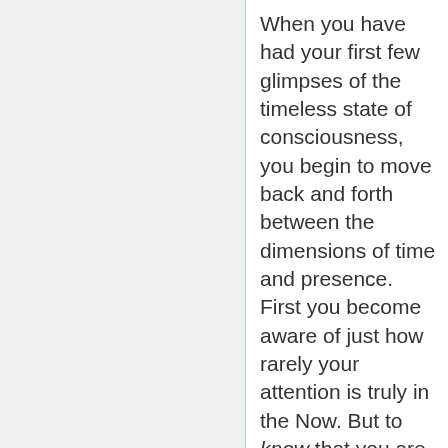When you have had your first few glimpses of the timeless state of consciousness, you begin to move back and forth between the dimensions of time and presence. First you become aware of just how rarely your attention is truly in the Now. But to know that you are not present is a great success: That